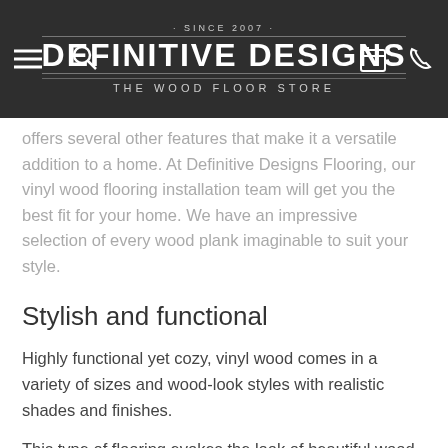SINCE 2007 · DEFINITIVE DESIGNS · THE WOOD FLOOR STORE
offers several other features that make it a versatile addition to a home. At Definitive Designs Flooring, our vinyl wood flooring installation team will get you the best fit for your home. We have an impressive selection of every wood plank imaginable to suit your style.
Stylish and functional
Highly functional yet cozy, vinyl wood comes in a variety of sizes and wood-look styles with realistic shades and finishes.
This type of flooring evokes the look of beautiful wood. You can opt for vinyl wood flooring installation wherever you